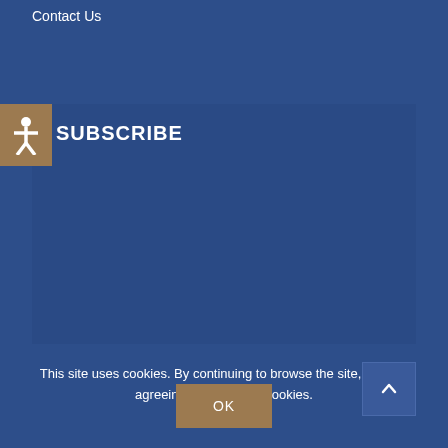Contact Us
SUBSCRIBE
Sign up to receive our blog posts in your email.
Email Address *
SUBSCRIBE
This site uses cookies. By continuing to browse the site, you are agreeing to our use of cookies.
OK